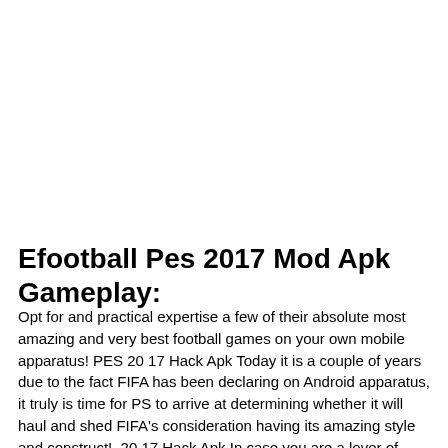Efootball Pes 2017 Mod Apk Gameplay:
Opt for and practical expertise a few of their absolute most amazing and very best football games on your own mobile apparatus! PES 20 17 Hack Apk Today it is a couple of years due to the fact FIFA has been declaring on Android apparatus, it truly is time for PS to arrive at determining whether it will haul and shed FIFA's consideration having its amazing style and construct!  20 17 Hack Apk In case you are a lover of sports matches, notably mobile soccer, regardless of precisely the description, then and also go for downloading this match  20 17 Hack Apk -PRO